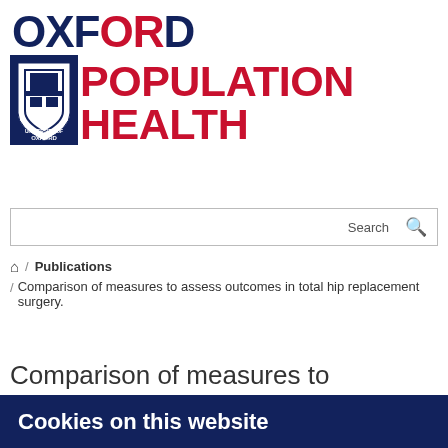[Figure (logo): Oxford Population Health logo with University of Oxford shield and bold red POPULATION HEALTH text]
Search
/ Publications / Comparison of measures to assess outcomes in total hip replacement surgery.
Comparison of measures to
Cookies on this website
We use cookies to ensure that we give you the best experience on our website. If you click 'Accept all cookies' we'll assume that you are happy to receive all cookies and you won't see this message again. If you click 'Reject all